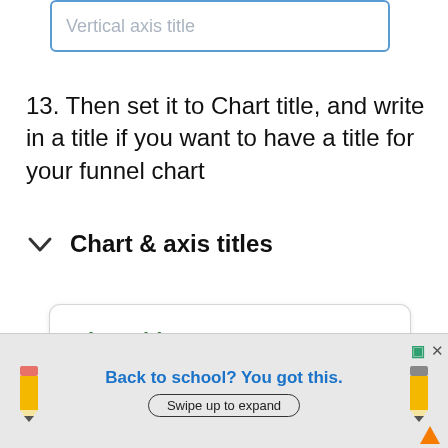[Figure (screenshot): Input field with placeholder text 'Vertical axis title' and blue border]
13. Then set it to Chart title, and write in a title if you want to have a title for your funnel chart
[Figure (screenshot): Expandable section header showing a chevron down icon and 'Chart & axis titles' label]
[Figure (screenshot): Dropdown panel showing 'Chart title' in green bold text with a dropdown arrow]
Title text
[Figure (screenshot): Advertisement banner: 'Back to school? You got this.' with pencil graphics and 'Swipe up to expand' button]